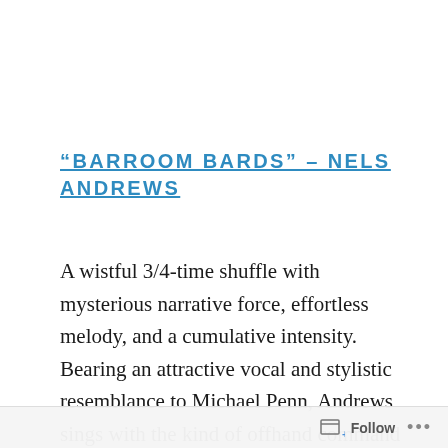“BARROOM BARDS” – NELS ANDREWS
A wistful 3/4-time shuffle with mysterious narrative force, effortless melody, and a cumulative intensity. Bearing an attractive vocal and stylistic resemblance to Michael Penn, Andrews sings with the kind of offhand command not as common as it ideally should be—durable, concrete words flow from his mouth on top of crisply arranged textures via a